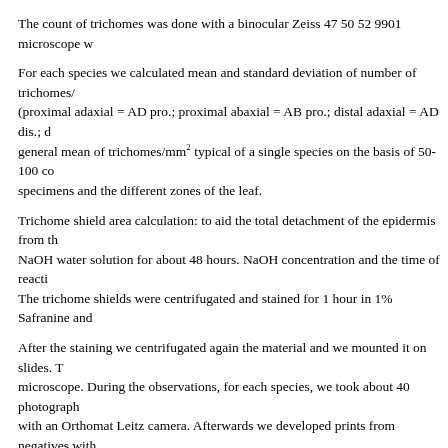The count of trichomes was done with a binocular Zeiss 47 50 52 9901 microscope w
For each species we calculated mean and standard deviation of number of trichomes/ (proximal adaxial = AD pro.; proximal abaxial = AB pro.; distal adaxial = AD dis.; d general mean of trichomes/mm2 typical of a single species on the basis of 50-100 co specimens and the different zones of the leaf.
Trichome shield area calculation: to aid the total detachment of the epidermis from th NaOH water solution for about 48 hours. NaOH concentration and the time of reacti The trichome shields were centrifugated and stained for 1 hour in 1% Safranine and
After the staining we centrifugated again the material and we mounted it on slides. T microscope. During the observations, for each species, we took about 40 photograph with an Orthomat Leitz camera. Afterwards we developed prints from negatives with
We calculated the mean area of the trichome wing in each species considering 40 sar excluded the central disc of the trichome that does not indicate any increase in epider together with the trichome frequency, was used to calculate the amount of "leaf expa
Results
Results appear in three tables, respectively, the area of the trichome wing (Table 1) a leaves in each of the 37 species. Table 3 reports the values of "leaf expansion" (T) ty of the factors reported in the first two tables. On the whole we can say that: